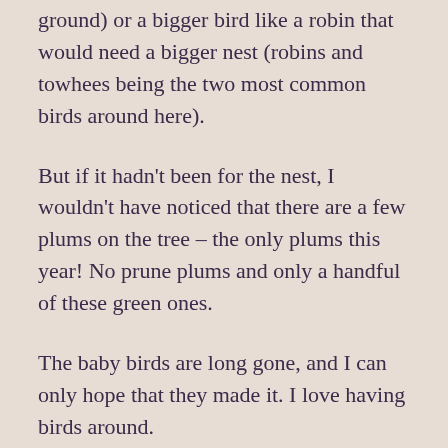ground) or a bigger bird like a robin that would need a bigger nest (robins and towhees being the two most common birds around here).
But if it hadn't been for the nest, I wouldn't have noticed that there are a few plums on the tree – the only plums this year! No prune plums and only a handful of these green ones.
The baby birds are long gone, and I can only hope that they made it. I love having birds around.